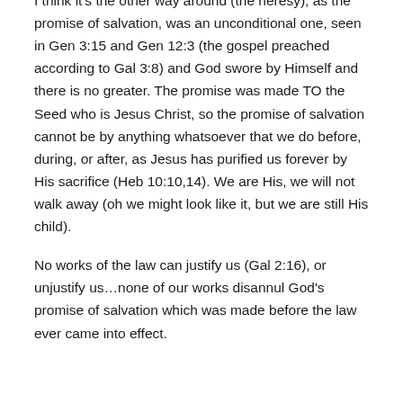I think it's the other way around (the heresy), as the promise of salvation, was an unconditional one, seen in Gen 3:15 and Gen 12:3 (the gospel preached according to Gal 3:8) and God swore by Himself and there is no greater. The promise was made TO the Seed who is Jesus Christ, so the promise of salvation cannot be by anything whatsoever that we do before, during, or after, as Jesus has purified us forever by His sacrifice (Heb 10:10,14). We are His, we will not walk away (oh we might look like it, but we are still His child).
No works of the law can justify us (Gal 2:16), or unjustify us…none of our works disannul God's promise of salvation which was made before the law ever came into effect.